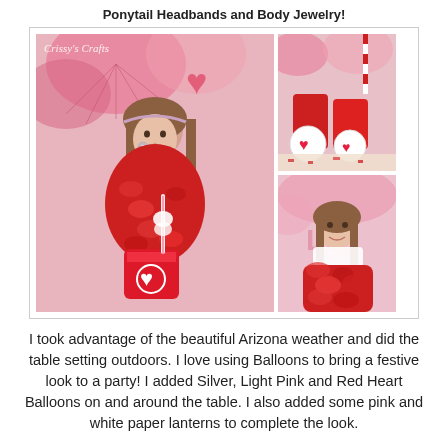Ponytail Headbands and Body Jewelry!
[Figure (photo): Collage of three photos of a young girl at a Valentine's Day party with pink and red decorations. Left: large photo of girl holding a heart-decorated cup with a straw, wearing a red feather boa and pink headband with face jewel, pink paper fans in background, watermark 'Crissy's Crafts'. Top right: party table decorations with red gloves and heart cups. Bottom right: girl smiling wearing red feather boa.]
I took advantage of the beautiful Arizona weather and did the table setting outdoors. I love using Balloons to bring a festive look to a party!  I added Silver, Light Pink and Red Heart Balloons on and around the table. I also added some pink and white paper lanterns to complete the look.